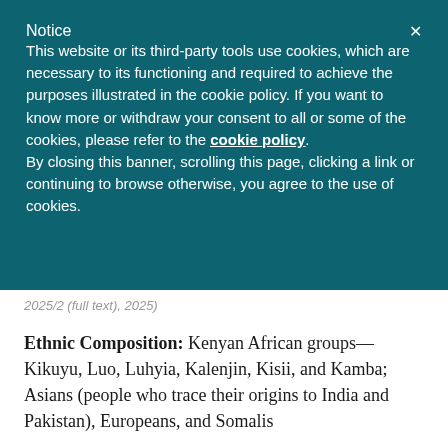Notice
This website or its third-party tools use cookies, which are necessary to its functioning and required to achieve the purposes illustrated in the cookie policy. If you want to know more or withdraw your consent to all or some of the cookies, please refer to the cookie policy.
By closing this banner, scrolling this page, clicking a link or continuing to browse otherwise, you agree to the use of cookies.
Ethnic Composition: Kenyan African groups—Kikuyu, Luo, Luhyia, Kalenjin, Kisii, and Kamba; Asians (people who trace their origins to India and Pakistan), Europeans, and Somalis
Climate: Tropical highland with sunny days, mild daily temperatures, and cool nights